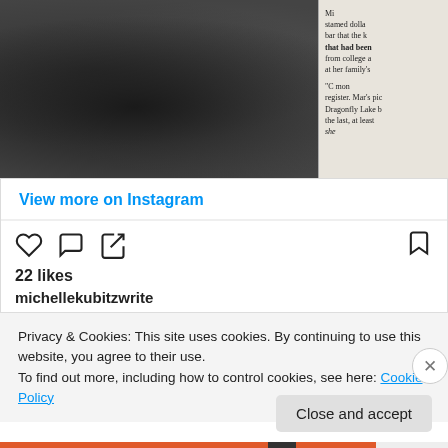[Figure (photo): Black and white photo of food on a plate alongside an open book page, screenshot from Instagram]
View more on Instagram
[Figure (other): Instagram action icons: heart (like), comment bubble, share arrow, and bookmark]
22 likes
michellekubitzwrite
Privacy & Cookies: This site uses cookies. By continuing to use this website, you agree to their use.
To find out more, including how to control cookies, see here: Cookie Policy
Close and accept